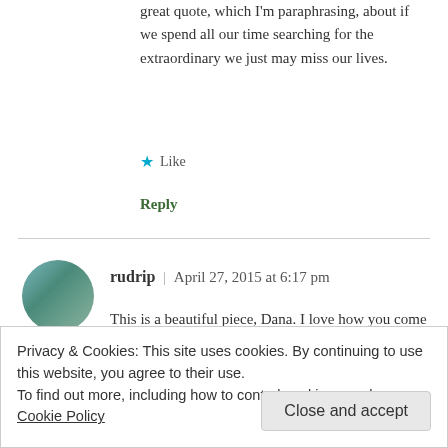great quote, which I'm paraphrasing, about if we spend all our time searching for the extraordinary we just may miss our lives.
Like
Reply
rudrip | April 27, 2015 at 6:17 pm
This is a beautiful piece, Dana. I love how you come full circle – reminding all of us that the only way out is through. xo
Privacy & Cookies: This site uses cookies. By continuing to use this website, you agree to their use.
To find out more, including how to control cookies, see here: Cookie Policy
Close and accept